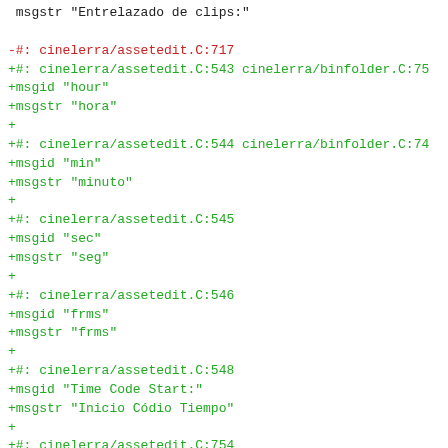msgstr "Entrelazado de clips:"

-#: cinelerra/assetedit.C:717
+#: cinelerra/assetedit.C:543 cinelerra/binfolder.C:75
+msgid "hour"
+msgstr "hora"
+
+#: cinelerra/assetedit.C:544 cinelerra/binfolder.C:74
+msgid "min"
+msgstr "minuto"
+
+#: cinelerra/assetedit.C:545
+msgid "sec"
+msgstr "seg"
+
+#: cinelerra/assetedit.C:546
+msgid "frms"
+msgstr "frms"
+
+#: cinelerra/assetedit.C:548
+msgid "Time Code Start:"
+msgstr "Inicio Códio Tiempo"
+
+#: cinelerra/assetedit.C:754
 msgid "Detail"
 msgstr "Detalle"

-#: cinelerra/assetedit.C:737
+#: cinelerra/assetedit.C:774
 msgid "Asset Detail"
 msgstr "Detalle de Clip"

-#: